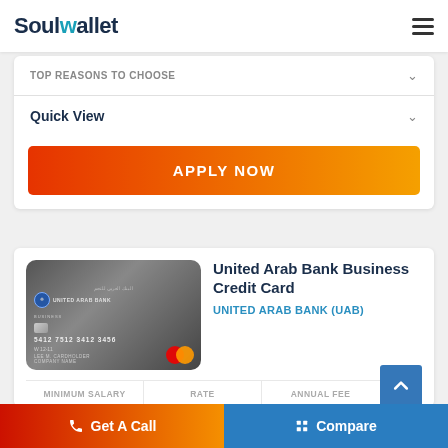SoulWallet
TOP REASONS TO CHOOSE
Quick View
APPLY NOW
[Figure (photo): United Arab Bank Business Credit Card — dark metallic credit card with MasterCard logo, card number 5412 7512 3412 3456, expiry W 12-11, cardholder LEE M. CARDHOLDER, COMPANY NAME]
United Arab Bank Business Credit Card
UNITED ARAB BANK (UAB)
| MINIMUM SALARY | RATE | ANNUAL FEE |
| --- | --- | --- |
|  |
Get A Call   Compare